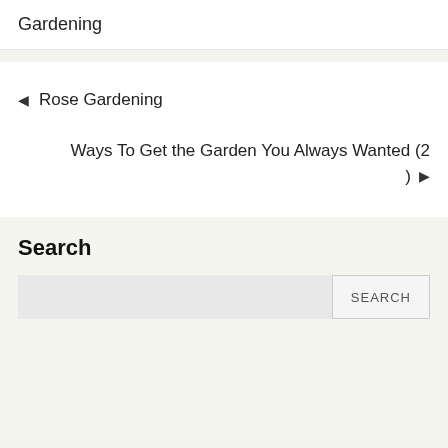Gardening
◄ Rose Gardening
Ways To Get the Garden You Always Wanted (2) ►
Search
SEARCH